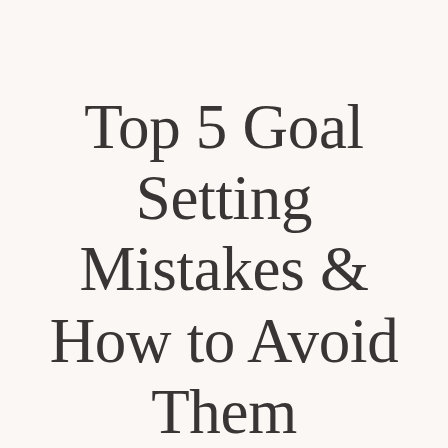Top 5 Goal Setting Mistakes & How to Avoid Them